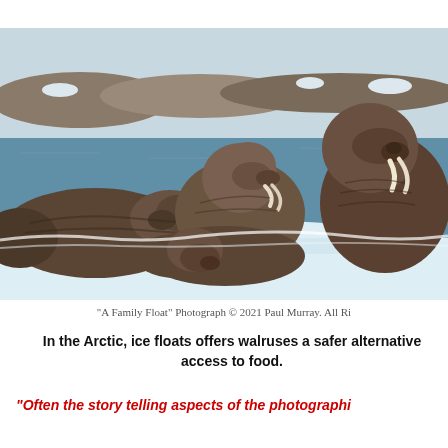[Figure (photo): Three walruses resting on an ice float in the Arctic. The walruses are large, brown, wrinkled animals with tusks. They are lying on white ice with arctic ocean water and a rocky shoreline visible in the background.]
“A Family Float” Photograph © 2021 Paul Murray. All Ri
In the Arctic, ice floats offers walruses a safer alternative access to food.
“Often the story telling aspects of the photographi